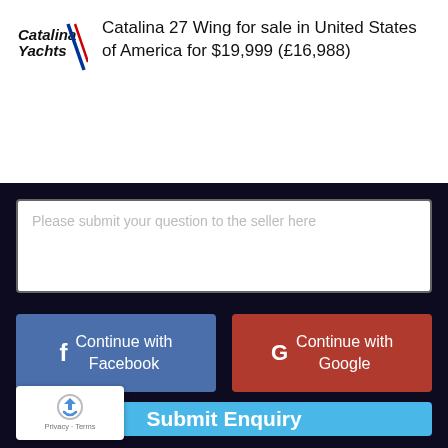[Figure (logo): Catalina Yachts logo with diagonal double stripe]
Catalina 27 Wing for sale in United States of America for $19,999 (£16,988)
Please submit your question to the seller here
[Figure (other): Continue with Facebook button]
[Figure (other): Continue with Google button]
[Figure (other): Submit Enquiry button]
[Figure (other): reCAPTCHA badge with Privacy and Terms links]